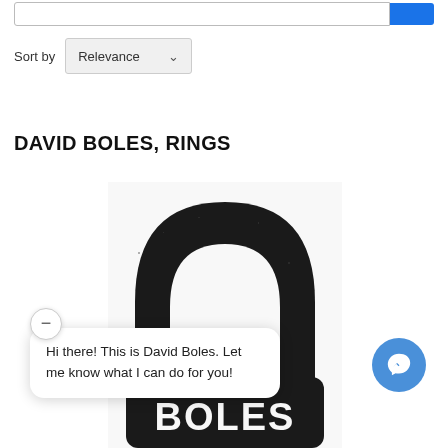[Figure (screenshot): Search bar with blue search button at top]
Sort by   Relevance ∨
DAVID BOLES, RINGS
[Figure (photo): Black kettlebell-shaped logo with text BOLES partially visible, bottom of image cut off showing BOLES text in large block letters]
Hi there! This is David Boles. Let me know what I can do for you!